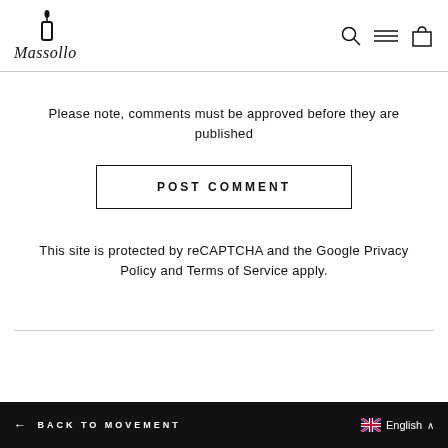[Figure (logo): Massollo brand logo with stylized candle icon above handwritten-style text]
[Figure (other): Navigation icons: search (magnifier), menu (hamburger/equals), cart (shopping bag)]
Please note, comments must be approved before they are published
POST COMMENT
This site is protected by reCAPTCHA and the Google Privacy Policy and Terms of Service apply.
← BACK TO MOVEMENT   English ∧